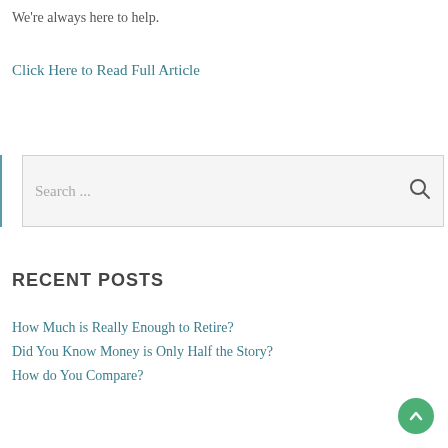We're always here to help.
Click Here to Read Full Article
[Figure (other): Search bar with placeholder text 'Search ...' and a magnifying glass icon on the right]
RECENT POSTS
How Much is Really Enough to Retire?
Did You Know Money is Only Half the Story?
How do You Compare?